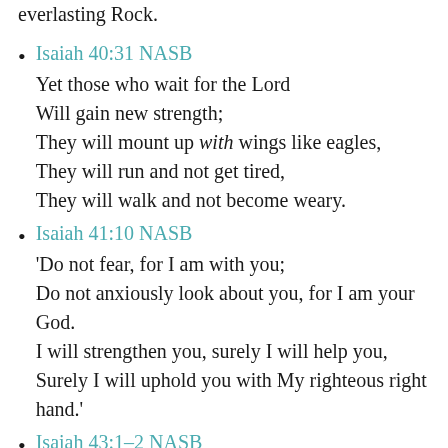everlasting Rock.
Isaiah 40:31 NASB
Yet those who wait for the Lord
Will gain new strength;
They will mount up with wings like eagles,
They will run and not get tired,
They will walk and not become weary.
Isaiah 41:10 NASB
'Do not fear, for I am with you;
Do not anxiously look about you, for I am your God.
I will strengthen you, surely I will help you,
Surely I will uphold you with My righteous right hand.'
Isaiah 43:1-2 NASB
But now, thus says the Lord, your Creator, O Jacob,
And He who formed you, O Israel,
"Do not fear, for I have redeemed you;